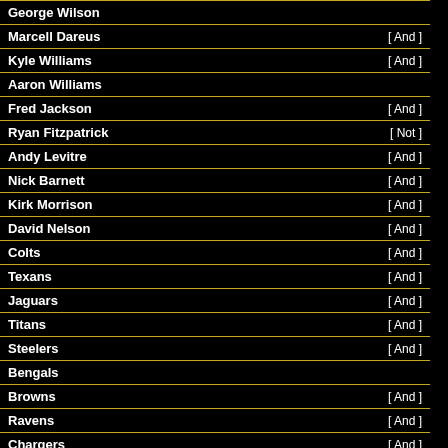George Wilson
Marcell Dareus [And]
Kyle Williams [And]
Aaron Williams
Fred Jackson [And]
Ryan Fitzpatrick [Not]
Andy Levitre [And]
Nick Barnett [And]
Kirk Morrison [And]
David Nelson [And]
Colts [And]
Texans [And]
Jaguars [And]
Titans [And]
Steelers [And]
Bengals
Browns [And]
Ravens [And]
Chargers [And]
Chiefs [And]
a huge challenge against the Jets (the same can be said for his line). Sione Pouha is one of the best defensive linemen against the run. Pouha has ripped apart far better O-lines than he is prepared to face today. A... linebackers are pretty tough to get ...
The good thing- for the offensive line- is Jets are very poor pass rushers. Thus, Fitzpatrick will have time to test the Jets secondary. Avoid everyone except Revis (if he's smart).
There is no more valuable defensive player than Revis, because he is the reason why the Jets defensive backs and do all the cra... Revis has given up the least amount of ... had more tips/picks than catches as...
This lavish praise of Revis is actu... because the Bills offense is one-... Everybody knows that Fitz is going... as much as he can, but Revis ca... leaves David Nelson to be co... whoever else has him guarded.